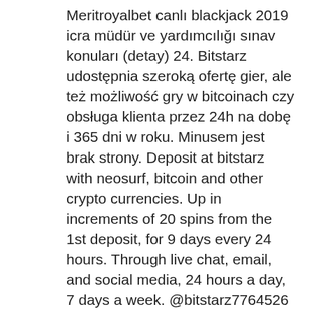Meritroyalbet canlı blackjack 2019 icra müdür ve yardımcılığı sınav konuları (detay) 24. Bitstarz udostępnia szeroką ofertę gier, ale też możliwość gry w bitcoinach czy obsługa klienta przez 24h na dobę i 365 dni w roku. Minusem jest brak strony. Deposit at bitstarz with neosurf, bitcoin and other crypto currencies. Up in increments of 20 spins from the 1st deposit, for 9 days every 24 hours. Through live chat, email, and social media, 24 hours a day, 7 days a week. @bitstarz7764526 · member activities. Надежное онлайн казино bitstarz ; время выплаты. Максимум 10 минут ; онлайн поддержка игроков. 24 часа 7 дней в неделю ; зарегистрированных игроков The first commercial slots machine had 5 drums, which spun 50 playing cards. Today, there are over 1 million slots in casinos all over the world. Combining the Bitcoin slots and online slots, the game has now reached every corner of the world. bitstarz 24. What